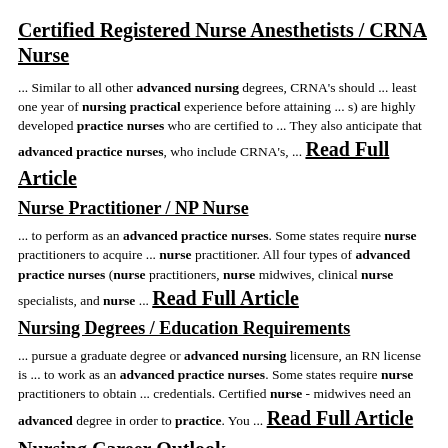Certified Registered Nurse Anesthetists / CRNA Nurse
... Similar to all other advanced nursing degrees, CRNA's should ... least one year of nursing practical experience before attaining ... s) are highly developed practice nurses who are certified to ... They also anticipate that advanced practice nurses, who include CRNA's, ... Read Full Article
Nurse Practitioner / NP Nurse
... to perform as an advanced practice nurses. Some states require nurse practitioners to acquire ... nurse practitioner. All four types of advanced practice nurses (nurse practitioners, nurse midwives, clinical nurse specialists, and nurse ... Read Full Article
Nursing Degrees / Education Requirements
... pursue a graduate degree or advanced nursing licensure, an RN license is ... to work as an advanced practice nurses. Some states require nurse practitioners to obtain ... credentials. Certified nurse - midwives need an advanced degree in order to practice. You ... Read Full Article
Nursing Career Outlook